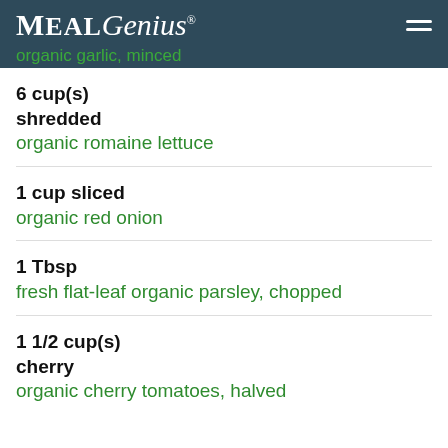MealGenius® organic garlic, minced
6 cup(s) shredded organic romaine lettuce
1 cup sliced organic red onion
1 Tbsp fresh flat-leaf organic parsley, chopped
1 1/2 cup(s) cherry organic cherry tomatoes, halved